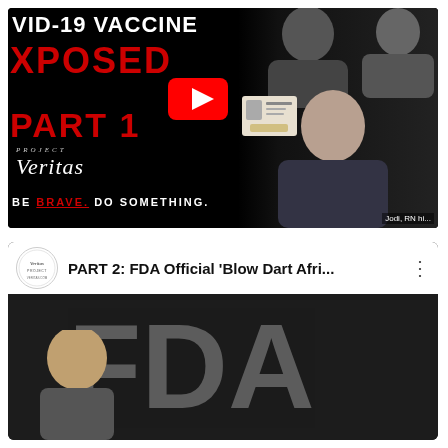[Figure (screenshot): YouTube video thumbnail for Project Veritas 'COVID-19 Vaccine Exposed Part 1' video. Black background with large red text reading 'EXPOSED' and 'PART 1', white text 'COVID-19 VACCINE' at top, Project Veritas logo, tagline 'BE BRAVE. DO SOMETHING.', red YouTube play button in center, and photos of people including a woman labeled 'Jodi, RN' on the right side.]
[Figure (screenshot): YouTube video listing for 'PART 2: FDA Official Blow Dart Afri...' with Project Veritas channel icon (circular logo), video title, three-dot menu, and preview showing large FDA letters logo and a person's head at bottom left.]